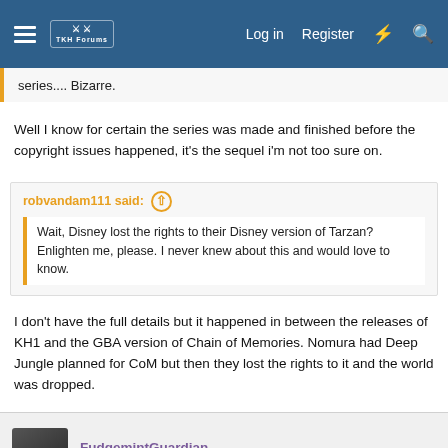TKH Forums — Log in | Register
series.... Bizarre.
Well I know for certain the series was made and finished before the copyright issues happened, it's the sequel i'm not too sure on.
robvandam111 said:
Wait, Disney lost the rights to their Disney version of Tarzan? Enlighten me, please. I never knew about this and would love to know.
I don't have the full details but it happened in between the releases of KH1 and the GBA version of Chain of Memories. Nomura had Deep Jungle planned for CoM but then they lost the rights to it and the world was dropped.
FudgemintGuardian
Moist with roistering